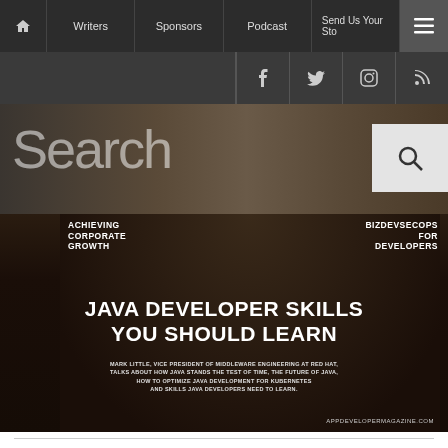Home | Writers | Sponsors | Podcast | Send Us Your Story | Menu
[Figure (screenshot): Website navigation bar with dark background showing Writers, Sponsors, Podcast, Send Us Your Story links and menu icon]
[Figure (screenshot): Social media icons bar with Facebook, Twitter, Instagram, RSS feed icons]
[Figure (screenshot): Search overlay area with large 'Search' text on a dark blurred background with a search icon button]
[Figure (photo): Magazine cover image: Java Developer Skills You Should Learn - Mark Little, Vice President of Middleware Engineering at Red Hat, talks about how Java stands the test of time, the future of Java, how to optimize Java development for Kubernetes and skills Java developers need to learn. AppDeveloperMagazine.com. Also features sections: Achieving Corporate Growth and BizDevSecOps for Developers.]
Get More App News